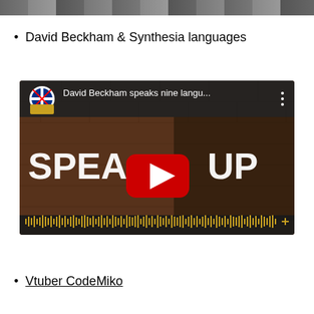[Figure (photo): Cropped top portion of a group photo showing several people]
David Beckham & Synthesia languages
[Figure (screenshot): YouTube video thumbnail showing David Beckham speaking nine languages, titled 'David Beckham speaks nine langu...' with 'SPEAK UP' text overlay and an audio waveform at the bottom. A YouTube play button is centered on the image.]
Vtuber CodeMiko